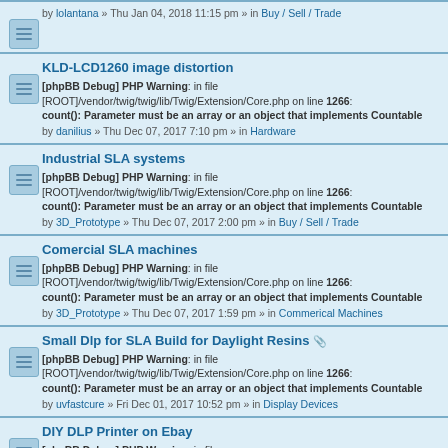by lolantana » Thu Jan 04, 2018 11:15 pm » in Buy / Sell / Trade
KLD-LCD1260 image distortion
[phpBB Debug] PHP Warning: in file [ROOT]/vendor/twig/twig/lib/Twig/Extension/Core.php on line 1266: count(): Parameter must be an array or an object that implements Countable
by danilius » Thu Dec 07, 2017 7:10 pm » in Hardware
Industrial SLA systems
[phpBB Debug] PHP Warning: in file [ROOT]/vendor/twig/twig/lib/Twig/Extension/Core.php on line 1266: count(): Parameter must be an array or an object that implements Countable
by 3D_Prototype » Thu Dec 07, 2017 2:00 pm » in Buy / Sell / Trade
Comercial SLA machines
[phpBB Debug] PHP Warning: in file [ROOT]/vendor/twig/twig/lib/Twig/Extension/Core.php on line 1266: count(): Parameter must be an array or an object that implements Countable
by 3D_Prototype » Thu Dec 07, 2017 1:59 pm » in Commerical Machines
Small Dlp for SLA Build for Daylight Resins
[phpBB Debug] PHP Warning: in file [ROOT]/vendor/twig/twig/lib/Twig/Extension/Core.php on line 1266: count(): Parameter must be an array or an object that implements Countable
by uvfastcure » Fri Dec 01, 2017 10:52 pm » in Display Devices
DIY DLP Printer on Ebay
[phpBB Debug] PHP Warning: in file [ROOT]/vendor/twig/twig/lib/Twig/Extension/Core.php on line 1266: count(): Parameter must be an array or an object that implements Countable
by GGresham » Mon Nov 27, 2017 1:38 pm » in Buy / Sell / Trade
maybe insane but...
[phpBB Debug] PHP Warning: in file